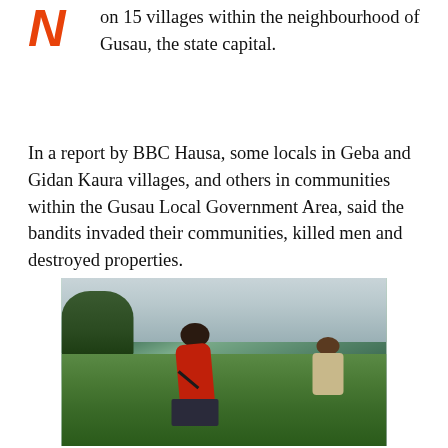on 15 villages within the neighbourhood of Gusau, the state capital.
In a report by BBC Hausa, some locals in Geba and Gidan Kaura villages, and others in communities within the Gusau Local Government Area, said the bandits invaded their communities, killed men and destroyed properties.
[Figure (photo): Two armed men in an open grassy field. The foreground figure wears a red vest and carries a weapon. The background figure also carries a rifle. Trees and a hazy sky are visible in the background.]